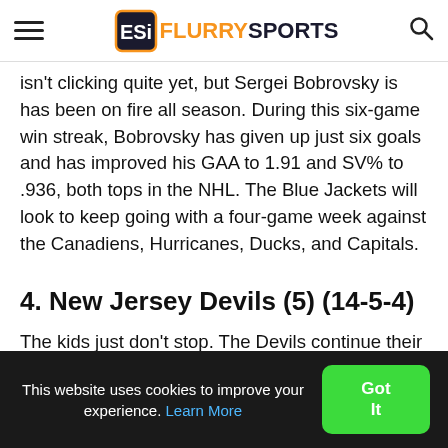Flurry Sports
isn't clicking quite yet, but Sergei Bobrovsky is has been on fire all season. During this six-game win streak, Bobrovsky has given up just six goals and has improved his GAA to 1.91 and SV% to .936, both tops in the NHL. The Blue Jackets will look to keep going with a four-game week against the Canadiens, Hurricanes, Ducks, and Capitals.
4. New Jersey Devils (5) (14-5-4)
The kids just don't stop. The Devils continue their success with a 3-1 week. Taylor Hall continues to
This website uses cookies to improve your experience. Learn More  Got It